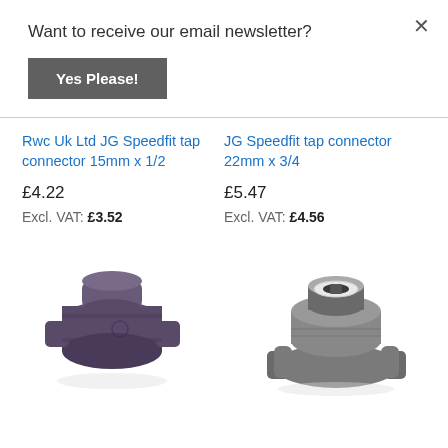Want to receive our email newsletter?
Yes Please!
Rwc Uk Ltd JG Speedfit tap connector 15mm x 1/2
JG Speedfit tap connector 22mm x 3/4
£4.22
£5.47
Excl. VAT: £3.52
Excl. VAT: £4.56
[Figure (photo): Purple/dark grey plastic tap connector fitting, 15mm x 1/2, viewed from the side showing cylindrical and flanged body]
[Figure (photo): Grey plastic tap connector fitting, 22mm x 3/4, viewed from above showing hollow interior with white seal ring and wing-nut style base]